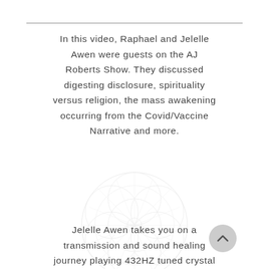In this video, Raphael and Jelelle Awen were guests on the AJ Roberts Show. They discussed digesting disclosure, spirituality versus religion, the mass awakening occurring from the Covid/Vaccine Narrative and more.
[Figure (illustration): A faint circular watermark/logo with geometric sacred geometry pattern — overlapping circles and lines forming a flower-of-life or metatron's cube style design, very light gray on white background.]
Jelelle Awen takes you on a transmission and sound healing journey playing 432HZ tuned crystal